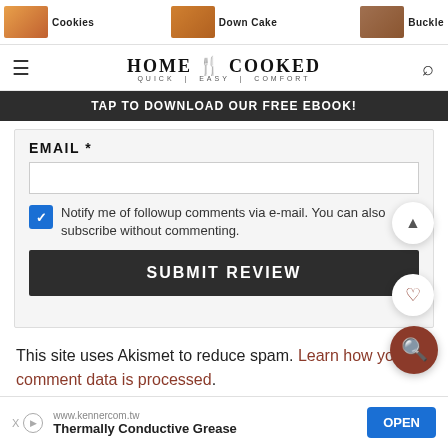[Figure (screenshot): Top navigation bar with food thumbnails and labels: Cookies, Down Cake, Buckle]
HOME COOKED
QUICK | EASY | COMFORT
TAP TO DOWNLOAD OUR FREE EBOOK!
EMAIL *
Notify me of followup comments via e-mail. You can also subscribe without commenting.
SUBMIT REVIEW
76
This site uses Akismet to reduce spam. Learn how your comment data is processed.
[Figure (screenshot): Advertisement banner: www.kennercom.tw — Thermally Conductive Grease — OPEN button]